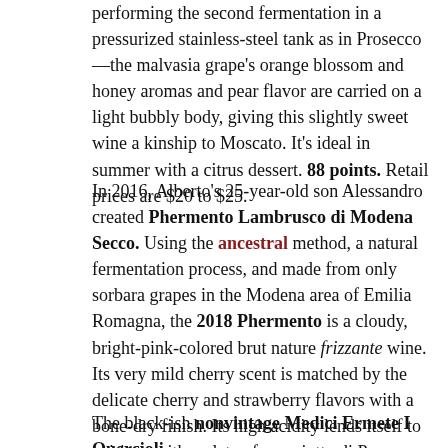performing the second fermentation in a pressurized stainless-steel tank as in Prosecco—the malvasia grape's orange blossom and honey aromas and pear flavor are carried on a light bubbly body, giving this slightly sweet wine a kinship to Moscato. It's ideal in summer with a citrus dessert. 88 points. Retail prices are $20 to $25.
In 2016, Alberto's 25-year-old son Alessandro created Phermento Lambrusco di Modena Secco. Using the ancestral method, a natural fermentation process, and made from only sorbara grapes in the Modena area of Emilia Romagna, the 2018 Phermento is a cloudy, bright-pink-colored brut nature frizzante wine. Its very mild cherry scent is matched by the delicate cherry and strawberry flavors with a bone-dry finish. Its high acidity lends itself to pairings with a plate of prosciutto di Parma and salami. 89 points. Retail prices are $25 to $30.
The black-ish nonvintage Medici Ermete I Quercioli